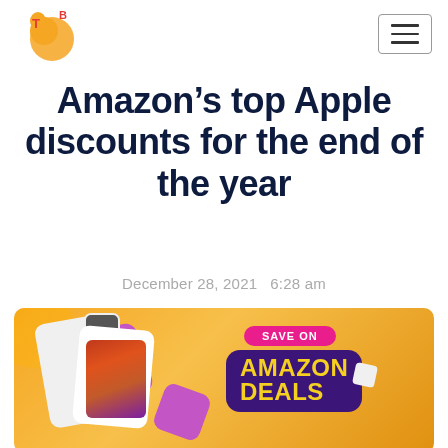TB logo and hamburger menu
Amazon’s top Apple discounts for the end of the year
December 28, 2021   6:28 am
[Figure (illustration): Promotional banner with Apple devices (MacBook, iPhone, Apple Watch) on an orange/yellow gradient background with 'SAVE ON AMAZON DEALS' badge in pink and purple]